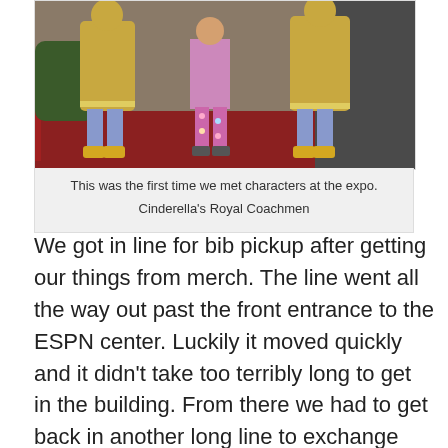[Figure (photo): Photo of costumed characters in gold outfits with blue stockings and yellow shoes standing on a red carpet in front of a building entrance. A child in floral leggings stands in the center.]
This was the first time we met characters at the expo.

Cinderella's Royal Coachmen
We got in line for bib pickup after getting our things from merch. The line went all the way out past the front entrance to the ESPN center. Luckily it moved quickly and it didn't take too terribly long to get in the building. From there we had to get back in another long line to exchange shirts. All in all, it took about 2 1/2 hrs to get everything done.